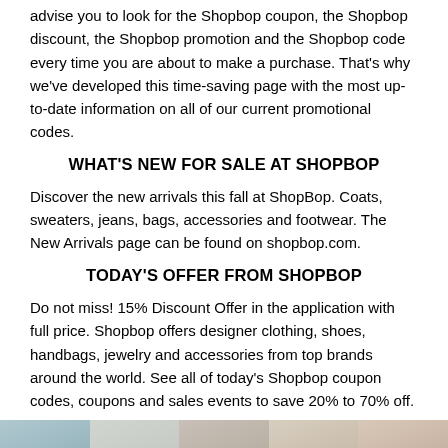advise you to look for the Shopbop coupon, the Shopbop discount, the Shopbop promotion and the Shopbop code every time you are about to make a purchase. That's why we've developed this time-saving page with the most up-to-date information on all of our current promotional codes.
WHAT'S NEW FOR SALE AT SHOPBOP
Discover the new arrivals this fall at ShopBop. Coats, sweaters, jeans, bags, accessories and footwear. The New Arrivals page can be found on shopbop.com.
TODAY'S OFFER FROM SHOPBOP
Do not miss! 15% Discount Offer in the application with full price. Shopbop offers designer clothing, shoes, handbags, jewelry and accessories from top brands around the world. See all of today's Shopbop coupon codes, coupons and sales events to save 20% to 70% off.
[Figure (photo): Strip of five fashion product images from Shopbop showing clothing and accessories]